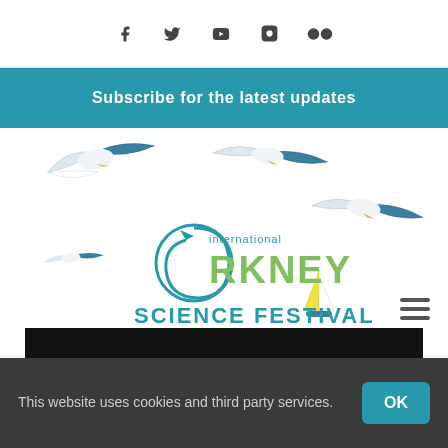[Figure (infographic): Social media icons: Facebook, Twitter, YouTube, Instagram, Flickr]
Subscribe for the latest updates
[Figure (logo): International Orkney Science Festival logo with seagulls and sailboat illustration]
NhorthoRambadsamnatiltaky (blurred navigation text)
Search...
This website uses cookies and third party services.
OK